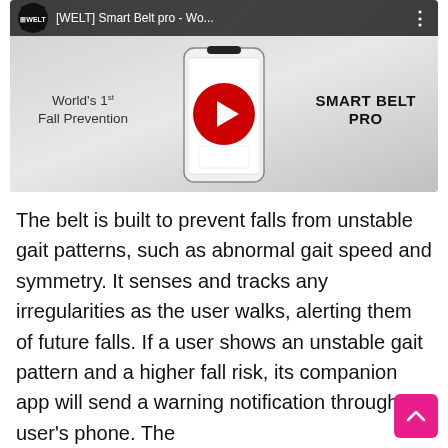[Figure (screenshot): YouTube video thumbnail for '[WELT] Smart Belt pro - Wo...' showing WELT logo, phone mockup with WELT app, red play button, text 'World's 1st Fall Prevention' on left, 'SMART BELT PRO' on right, dark top bar with channel name and three-dot menu.]
The belt is built to prevent falls from unstable gait patterns, such as abnormal gait speed and symmetry. It senses and tracks any irregularities as the user walks, alerting them of future falls. If a user shows an unstable gait pattern and a higher fall risk, its companion app will send a warning notification through the user's phone. The